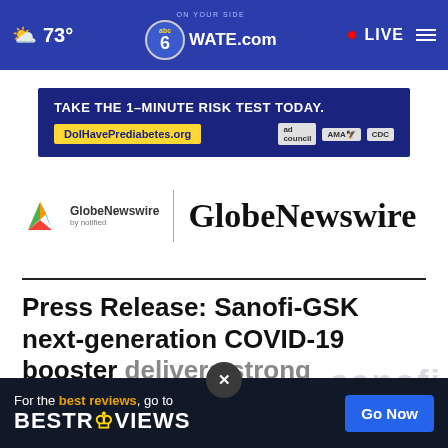73° | 6 abc WATE.com | LIVE
[Figure (screenshot): WATE 6 abc news website navigation bar with weather (73°), WATE.com logo, LIVE indicator, and hamburger menu on blue background]
[Figure (screenshot): Ad banner: TAKE THE 1-MINUTE RISK TEST TODAY. DoIHavePrediabetes.org — ad council, AMA, CDC logos]
[Figure (logo): GlobeNewswire by notified logo with colorful arrow icon, vertical divider, and large GlobeNewswire text]
Press Release: Sanofi-GSK next-generation COVID-19 booster delivers strong immune responses across variants
[Figure (screenshot): Bottom ad overlay: For the best reviews, go to BESTREVIEWS with Go Now button in blue]
[Figure (screenshot): Sanofi watermark/logo text partially visible on the right side]